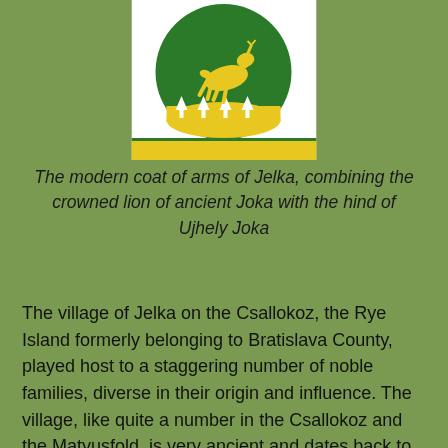[Figure (illustration): Coat of arms of Jelka: a green circular shield with a yellow/gold hind (deer) leaping over stylized white trees on a yellow base, set on a white rectangular background with a decorative yellow border at the bottom of the shield.]
The modern coat of arms of Jelka, combining the crowned lion of ancient Joka with the hind of Ujhely Joka
The village of Jelka on the Csallokoz, the Rye Island formerly belonging to Bratislava County, played host to a staggering number of noble families, diverse in their origin and influence. The village, like quite a number in the Csallokoz and the Matyusfold, is very ancient and dates back to the Magyar conquest in the 9th and 10th centuries. Firstly it was an outpost of Magyar warriors, to guard the borders against the Dukes of Bohemia and Austria; then, in